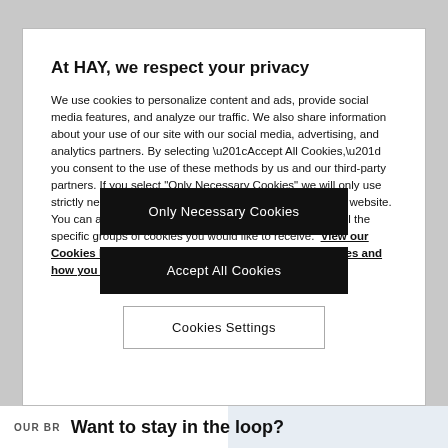At HAY, we respect your privacy
We use cookies to personalize content and ads, provide social media features, and analyze our traffic. We also share information about your use of our site with our social media, advertising, and analytics partners. By selecting “Accept All Cookies,” you consent to the use of these methods by us and our third-party partners. If you select "Only Necessary Cookies" we will only use strictly necessary cookies required for the operation of our website. You can also select "Cookie Settings" to review and control the specific groups of cookies you would like to receive. View our Cookies Notice to learn more about how we use cookies and how you can manage them.
Only Necessary Cookies
Accept All Cookies
Cookies Settings
OUR BR…   Want to stay in the loop?